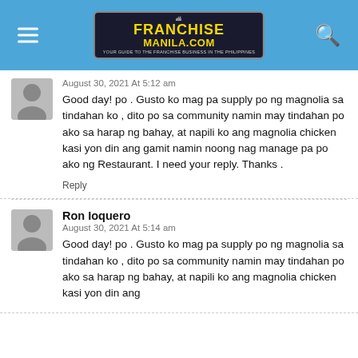FranchiseManila.com
August 30, 2021 At 5:12 am
Good day! po . Gusto ko mag pa supply po ng magnolia sa tindahan ko , dito po sa community namin may tindahan po ako sa harap ng bahay, at napili ko ang magnolia chicken kasi yon din ang gamit namin noong nag manage pa po ako ng Restaurant. I need your reply. Thanks .
Reply
Ron Ioquero
August 30, 2021 At 5:14 am
Good day! po . Gusto ko mag pa supply po ng magnolia sa tindahan ko , dito po sa community namin may tindahan po ako sa harap ng bahay, at napili ko ang magnolia chicken kasi yon din ang